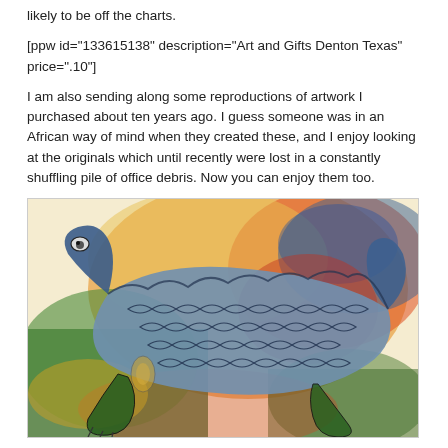likely to be off the charts.
[ppw id="133615138" description="Art and Gifts Denton Texas" price=".10"]
I am also sending along some reproductions of artwork I purchased about ten years ago. I guess someone was in an African way of mind when they created these, and I enjoy looking at the originals which until recently were lost in a constantly shuffling pile of office debris. Now you can enjoy them too.
[Figure (illustration): Watercolor illustration of a stylized animal (crocodile or lizard) with a patterned blue-grey scaly body, green legs, and a colorful orange, red, yellow, and blue watercolor background.]